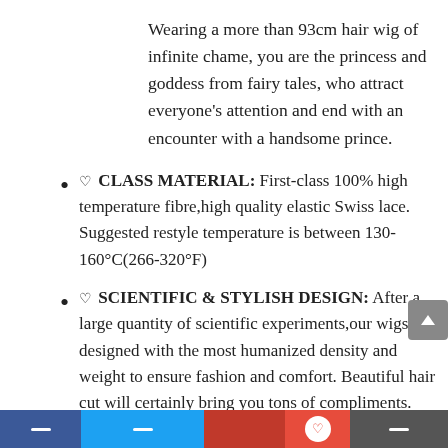Wearing a more than 93cm hair wig of infinite chame, you are the princess and goddess from fairy tales, who attract everyone's attention and end with an encounter with a handsome prince.
♡ CLASS MATERIAL: First-class 100% high temperature fibre,high quality elastic Swiss lace. Suggested restyle temperature is between 130-160°C(266-320°F)
♡ SCIENTIFIC & STYLISH DESIGN: After a large quantity of scientific experiments,our wigs are designed with the most humanized density and weight to ensure fashion and comfort. Beautiful hair cut will certainly bring you tons of compliments.
♡ SUPER REALISTIC: With pre-plucked front, natural lustre and silky touch, it looks so realistic